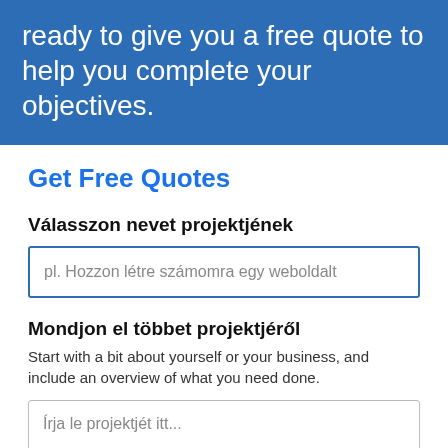ready to give you a free quote to help you complete your objectives.
Get Free Quotes
Válasszon nevet projektjének
pl. Hozzon létre számomra egy weboldalt
Mondjon el többet projektjéről
Start with a bit about yourself or your business, and include an overview of what you need done.
Írja le projektjét itt...